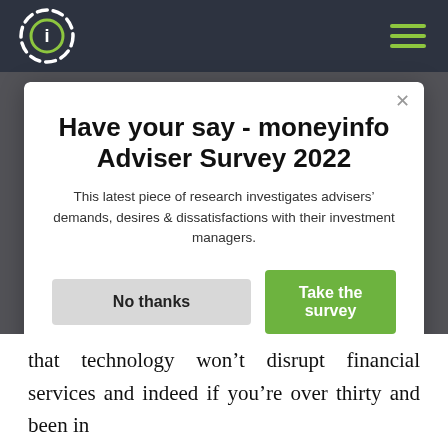moneyinfo
Have your say - moneyinfo Adviser Survey 2022
This latest piece of research investigates advisers' demands, desires & dissatisfactions with their investment managers.
No thanks | Take the survey
powered by SurveyMonkey
that technology won't disrupt financial services and indeed if you're over thirty and been in